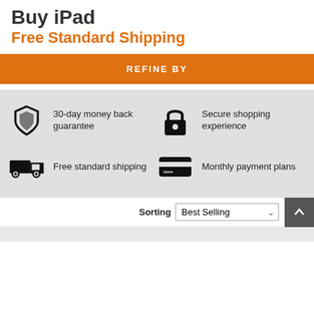Buy iPad
Free Standard Shipping
REFINE BY
[Figure (infographic): Four feature icons with text: shield icon - 30-day money back guarantee; lock icon - Secure shopping experience; truck icon - Free standard shipping; credit card icon - Monthly payment plans]
Sorting Best Selling